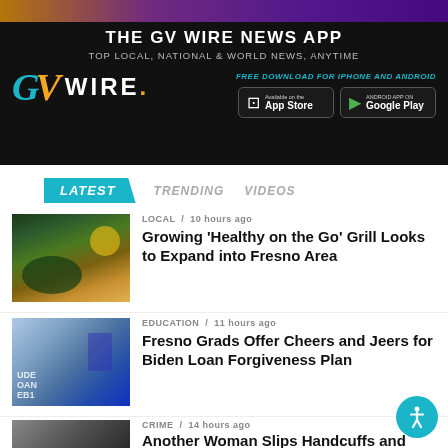[Figure (advertisement): GV Wire News App advertisement banner. Black background with GV Wire logo (cyan G, orange V), text 'THE GV WIRE NEWS APP', 'TOP LOCAL, NATIONAL & WORLD NEWS, ANYTIME', 'FREE DOWNLOAD FOR IPHONE AND ANDROID', App Store and Google Play buttons.]
LATEST   TRENDING   VIDEOS
LOCAL / 10 hours ago — Growing 'Healthy on the Go' Grill Looks to Expand into Fresno Area
EDUCATION / 11 hours ago — Fresno Grads Offer Cheers and Jeers for Biden Loan Forgiveness Plan
CRIME / 14 hours ago — Another Woman Slips Handcuffs and Shoots